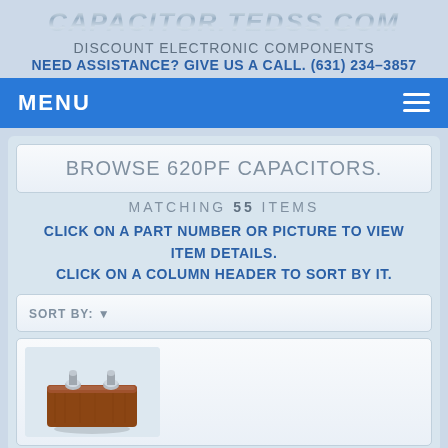CAPACITOR.TEDSS.COM
DISCOUNT ELECTRONIC COMPONENTS
NEED ASSISTANCE? GIVE US A CALL. (631) 234-3857
MENU
BROWSE 620PF CAPACITORS.
MATCHING 55 ITEMS
CLICK ON A PART NUMBER OR PICTURE TO VIEW ITEM DETAILS. CLICK ON A COLUMN HEADER TO SORT BY IT.
SORT BY:
[Figure (photo): Photo of a 620pF capacitor component, brown rectangular ceramic/epoxy body with two metal terminal studs on top]